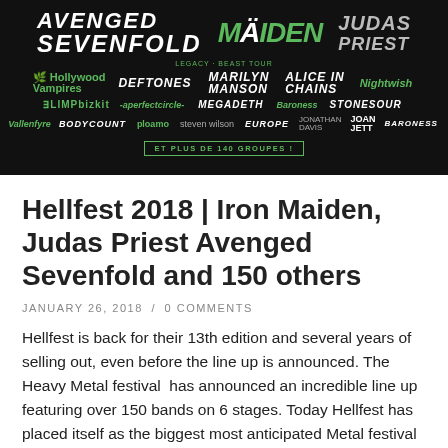[Figure (photo): Hellfest 2018 festival lineup poster on dark/black background showing band names in green and white text including Avenged Sevenfold, Iron Maiden (Legacy of the Beast Tour), Hollywood Vampires, Deftones, Marilyn Manson, Alice in Chains, Nightwish, Limp Bizkit, A Perfect Circle, Megadeth, Baroness, Stone Sour, Vallenfyre, Body Count, Ploame, Steven Wilson, Europe, Jonathan Davis, Joan Jett, and Baroness, with text 'ET PLUS DE 140 GROUPES!']
Hellfest 2018 | Iron Maiden, Judas Priest Avenged Sevenfold and 150 others
JANUARY 26, 2018  /  0 COMMENTS
Hellfest is back for their 13th edition and several years of selling out, even before the line up is announced. The Heavy Metal festival  has announced an incredible line up featuring over 150 bands on 6 stages. Today Hellfest has placed itself as the biggest most anticipated Metal festival in europe with hundreds of thousands of attendees.